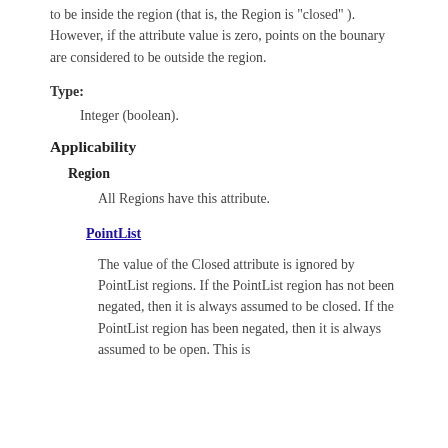to be inside the region (that is, the Region is "closed" ). However, if the attribute value is zero, points on the bounary are considered to be outside the region.
Type:
Integer (boolean).
Applicability
Region
All Regions have this attribute.
PointList
The value of the Closed attribute is ignored by PointList regions. If the PointList region has not been negated, then it is always assumed to be closed. If the PointList region has been negated, then it is always assumed to be open. This is